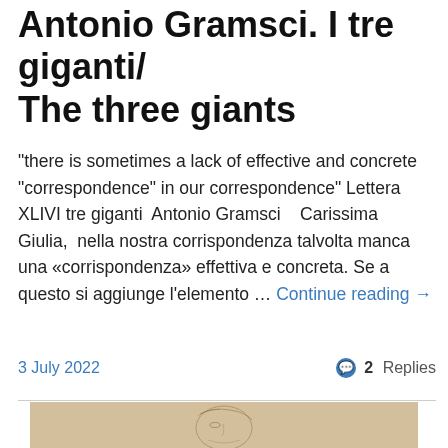Antonio Gramsci. I tre giganti/ The three giants
"there is sometimes a lack of effective and concrete "correspondence" in our correspondence" Lettera XLIVI tre giganti  Antonio Gramsci    Carissima Giulia,  nella nostra corrispondenza talvolta manca una «corrispondenza» effettiva e concreta. Se a questo si aggiunge l'elemento … Continue reading →
3 July 2022
2 Replies
[Figure (photo): A classical pencil or charcoal drawing of a woman's face in three-quarter profile, on aged beige/tan paper. The drawing shows fine lines depicting facial features and hair.]